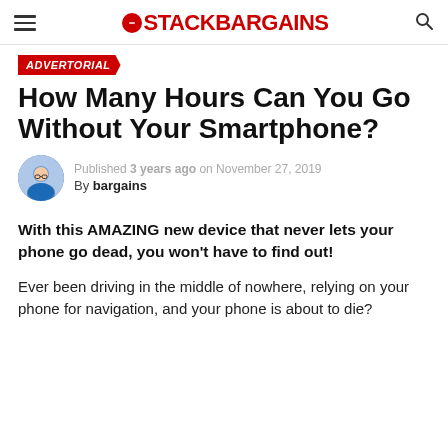STACKBARGAINS
ADVERTORIAL
How Many Hours Can You Go Without Your Smartphone?
Published 3 years ago on November 27, 2019 By bargains
With this AMAZING new device that never lets your phone go dead, you won’t have to find out!
Ever been driving in the middle of nowhere, relying on your phone for navigation, and your phone is about to die?